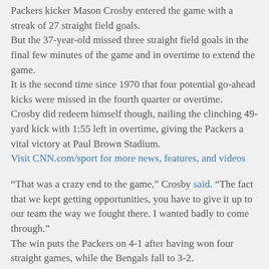Packers kicker Mason Crosby entered the game with a streak of 27 straight field goals. But the 37-year-old missed three straight field goals in the final few minutes of the game and in overtime to extend the game. It is the second time since 1970 that four potential go-ahead kicks were missed in the fourth quarter or overtime. Crosby did redeem himself though, nailing the clinching 49-yard kick with 1:55 left in overtime, giving the Packers a vital victory at Paul Brown Stadium. Visit CNN.com/sport for more news, features, and videos
“That was a crazy end to the game,” Crosby said. “The fact that we kept getting opportunities, you have to give it up to our team the way we fought there. I wanted badly to come through.” The win puts the Packers on 4-1 after having won four straight games, while the Bengals fall to 3-2.